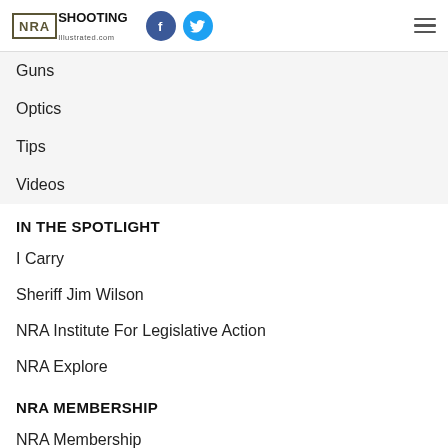NRA Shooting Illustrated
Guns
Optics
Tips
Videos
IN THE SPOTLIGHT
I Carry
Sheriff Jim Wilson
NRA Institute For Legislative Action
NRA Explore
NRA MEMBERSHIP
NRA Membership
Exclusive Member Benefits
Membership FAQ